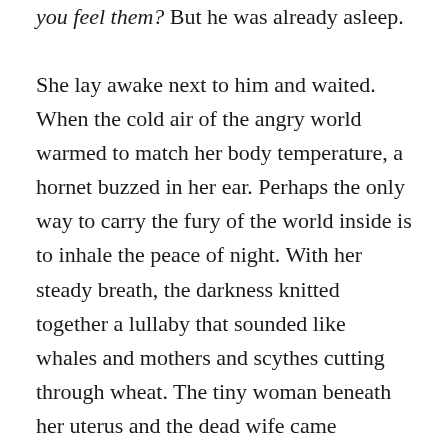you feel them? But he was already asleep.
She lay awake next to him and waited. When the cold air of the angry world warmed to match her body temperature, a hornet buzzed in her ear. Perhaps the only way to carry the fury of the world inside is to inhale the peace of night. With her steady breath, the darkness knitted together a lullaby that sounded like whales and mothers and scythes cutting through wheat. The tiny woman beneath her uterus and the dead wife came together and shook hands, then began to build a tower out of the broken glass. The mother on her rib whispered words of encouragement from above. Inside the tower, the ex-husband and the man-shaped shadow rode the motorcycle in circles. The night formed a crust that reminded the experience of something like the peace of